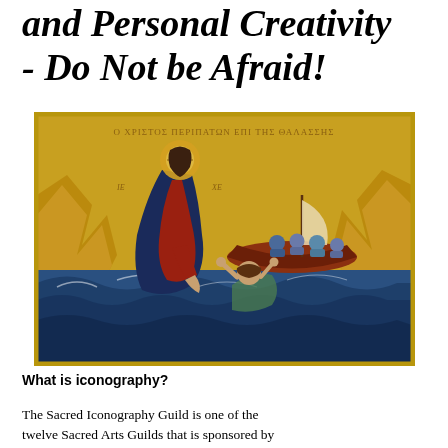and Personal Creativity - Do Not be Afraid!
[Figure (illustration): Byzantine-style icon depicting Christ walking on water and reaching down to rescue a sinking figure (Peter), with a boat of disciples visible in the background against rocky cliffs. Greek text inscription at the top of the icon reads: Ο ΧΡΙΣΤΟΣ ΠΕΡΙΠΑΤΩΝ ΕΠΙ ΤΗΣ ΘΑΛΑΣΣΗΣ.]
What is iconography?
The Sacred Iconography Guild is one of the twelve Sacred Arts Guilds that is sponsored by